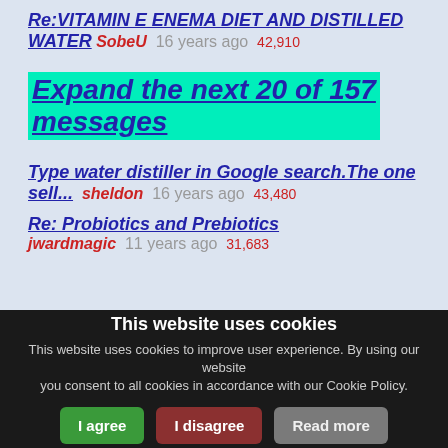Re:VITAMIN E ENEMA DIET AND DISTILLED WATER  SobeU  16 years ago  42,910
Expand the next 20 of 157 messages
Type water distiller in Google search.The one sell...  sheldon  16 years ago  43,480
Re: Probiotics and Prebiotics  jwardmagic  11 years ago  31,683
This website uses cookies
This website uses cookies to improve user experience. By using our website you consent to all cookies in accordance with our Cookie Policy.